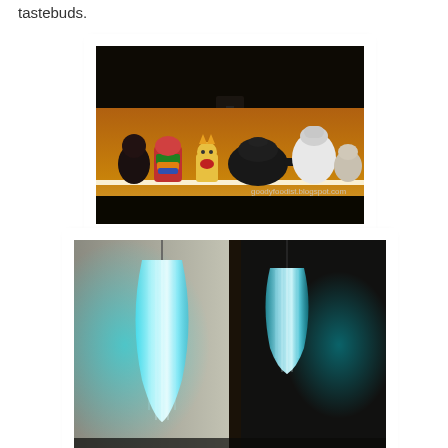tastebuds.
[Figure (photo): Illuminated display shelf with colorful decorative figurines and ceramic objects on a warm amber-lit background. Watermark reads 'goodyfoodist.blogspot.com']
[Figure (photo): Two glowing cyan teardrop-shaped pendant lamps hanging in a dark room, one large on the left and one smaller on the right.]